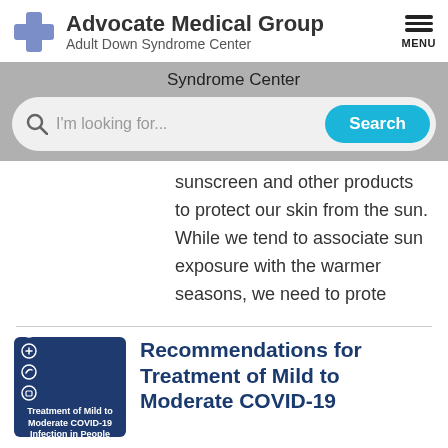[Figure (logo): Advocate Medical Group Adult Down Syndrome Center logo with blue cross icon]
Syndrome Center
[Figure (screenshot): Search bar with 'I'm looking for...' placeholder and blue Search button]
sunscreen and other products to protect our skin from the sun. While we tend to associate sun exposure with the warmer seasons, we need to prote
[Figure (photo): Thumbnail image for COVID-19 article with dark blue background and icons]
Recommendations for Treatment of Mild to Moderate COVID-19